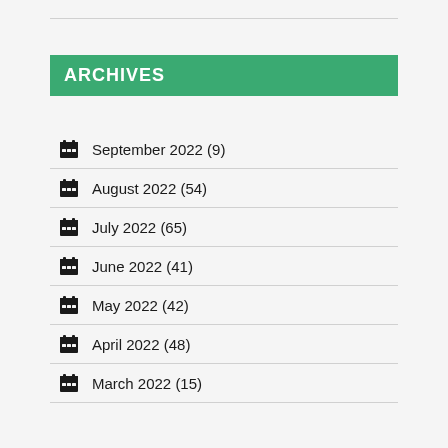ARCHIVES
September 2022 (9)
August 2022 (54)
July 2022 (65)
June 2022 (41)
May 2022 (42)
April 2022 (48)
March 2022 (15)